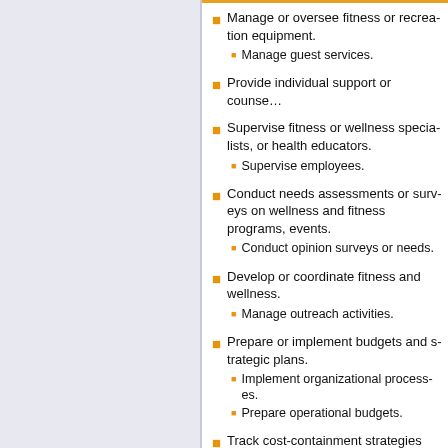Manage or oversee fitness or recreation equipment.
  • Manage guest services.
Provide individual support or counseling.
Supervise fitness or wellness specialists, or health educators.
  • Supervise employees.
Conduct needs assessments or surveys on wellness and fitness programs, events.
  • Conduct opinion surveys or needs.
Develop or coordinate fitness and wellness.
  • Manage outreach activities.
Prepare or implement budgets and strategic plans.
  • Implement organizational processes.
  • Prepare operational budgets.
Track cost-containment strategies and.
  • Evaluate program effectiveness.
Maintain wellness- and fitness-related.
  • Schedule activities or facility use.
  • Maintain personnel records.
Develop fitness or wellness classes, aquatics, ensuring a diversity of classes.